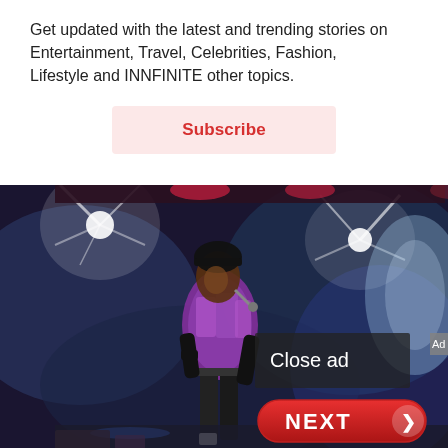Get updated with the latest and trending stories on Entertainment, Travel, Celebrities, Fashion, Lifestyle and INNFINITE other topics.
Subscribe
[Figure (photo): A performer (resembling Michael Jackson) on stage with bright stage lights and colorful background. An overlay shows 'Close ad' text and a red 'NEXT' button with arrow.]
Close ad
NEXT